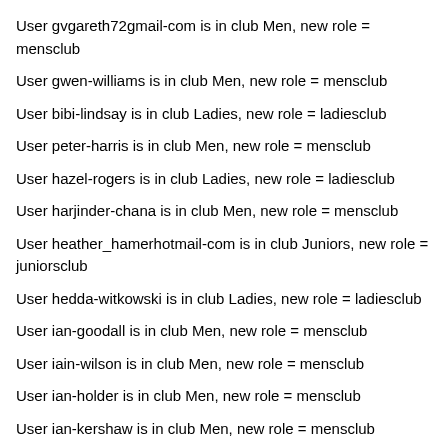User gvgareth72gmail-com is in club Men, new role = mensclub
User gwen-williams is in club Men, new role = mensclub
User bibi-lindsay is in club Ladies, new role = ladiesclub
User peter-harris is in club Men, new role = mensclub
User hazel-rogers is in club Ladies, new role = ladiesclub
User harjinder-chana is in club Men, new role = mensclub
User heather_hamerhotmail-com is in club Juniors, new role = juniorsclub
User hedda-witkowski is in club Ladies, new role = ladiesclub
User ian-goodall is in club Men, new role = mensclub
User iain-wilson is in club Men, new role = mensclub
User ian-holder is in club Men, new role = mensclub
User ian-kershaw is in club Men, new role = mensclub
User isla-priceicloud-com is in club Juniors, new role = juniorsclub